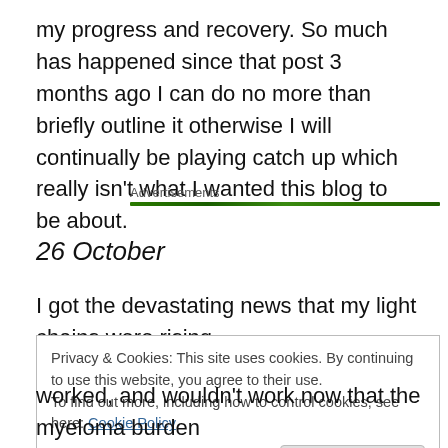my progress and recovery. So much has happened since that post 3 months ago I can do no more than briefly outline it otherwise I will continually be playing catch up which really isn't what I wanted this blog to be about.
Advertisements
26 October
I got the devastating news that my light chains were rising
Privacy & Cookies: This site uses cookies. By continuing to use this website, you agree to their use.
To find out more, including how to control cookies, see here: Cookie Policy
Close and accept
worked, and wouldn't work now that the myeloma burden